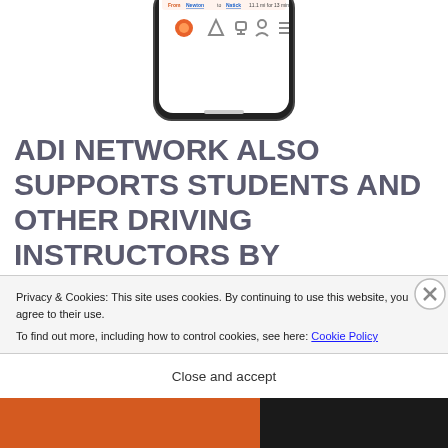[Figure (screenshot): Partial screenshot of a smartphone showing a navigation/driving app interface with icons for map, route, trophy, profile, and menu. Shows 'From Newton to Natick, 11.1 mi for 13 min'.]
ADI NETWORK ALSO SUPPORTS STUDENTS AND OTHER DRIVING INSTRUCTORS BY INFORMING OF INDUSTRY RELATED NEWS WITH OUR BLOG
Privacy & Cookies: This site uses cookies. By continuing to use this website, you agree to their use.
To find out more, including how to control cookies, see here: Cookie Policy
Close and accept
[Figure (photo): Bottom strip showing orange and dark/black horizontal band, partial view of a website section with a button and text.]